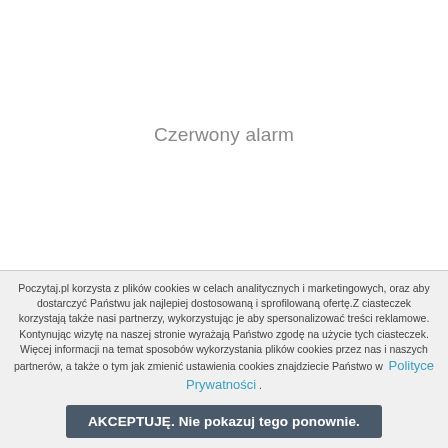Czerwony alarm
Poczytaj.pl korzysta z plików cookies w celach analitycznych i marketingowych, oraz aby dostarczyć Państwu jak najlepiej dostosowaną i sprofilowaną ofertę. Z ciasteczek korzystają także nasi partnerzy, wykorzystując je aby spersonalizować treści reklamowe. Kontynując wizytę na naszej stronie wyrażają Państwo zgodę na użycie tych ciasteczek. Więcej informacji na temat sposobów wykorzystania plików cookies przez nas i naszych partnerów, a także o tym jak zmienić ustawienia cookies znajdziecie Państwo w Polityce Prywatności .
AKCEPTUJĘ. Nie pokazuj tego ponownie.